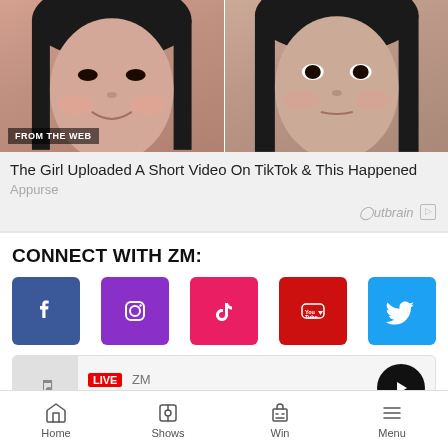[Figure (photo): Two close-up photos of young Asian women side by side, with 'FROM THE WEB' badge overlay on bottom left]
The Girl Uploaded A Short Video On TikTok & This Happened
Appurse
Outbrain
CONNECT WITH ZM:
[Figure (logo): Facebook icon - blue square with white f]
[Figure (logo): Instagram icon - purple square with camera outline]
[Figure (logo): TikTok icon - pink/red square with musical note]
[Figure (logo): YouTube icon - red square with YouTube logo]
[Figure (logo): Twitter icon - blue square with bird]
LIVE ZM
MURA MASA - WHAT IF I GO
Home  Shows  Win  Menu